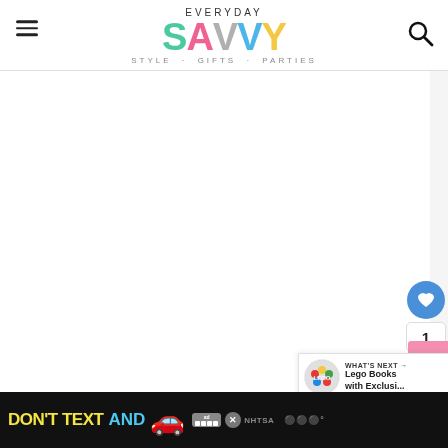EVERYDAY SAVVY STYLE · GIFTS · PARTIES
[Figure (screenshot): Large blank/white content area of the Everyday Savvy website, with social sidebar buttons (heart/like, count badge showing 1, share button) on the right side, and a 'WHAT'S NEXT → Lego Books with Exclusi...' widget in the lower right.]
[Figure (infographic): Ad banner at bottom: black background with yellow 'DON'T TEXT' and cyan 'AND' text, red car emoji, ad/NHTSA logo, close button, and weather widget icons on the right.]